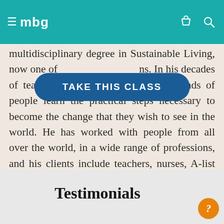≡ mbg
multidisciplinary degree in Sustainable Living, now one of ns. In his decades of teaching, Charlie has helped thousands of people learn the practical steps necessary to become the change that they wish to see in the world. He has worked with people from all over the world, in a wide range of professions, and his clients include teachers, nurses, A-list actors, and Fortune 500 CEOs.
[Figure (other): Blue pill-shaped call-to-action button with white bold text reading TAKE THIS CLASS]
Testimonials